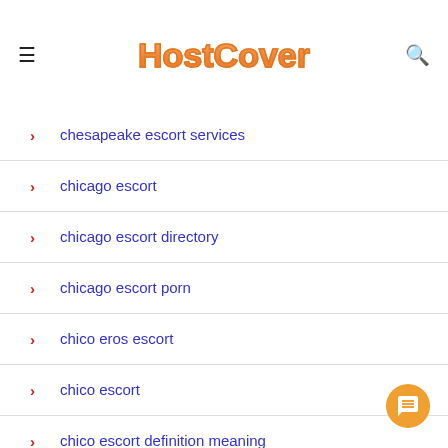HostCover
chesapeake escort services
chicago escort
chicago escort directory
chicago escort porn
chico eros escort
chico escort
chico escort definition meaning
chico escort radar